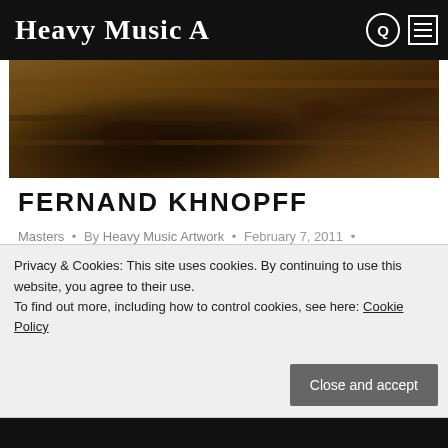Heavy Music Artwork
[Figure (photo): Dark brown wood/artwork image, partial view of an artwork with dark tones]
FERNAND KHNOPFF
Masters • By Heavy Music Artwork • February 7, 2011 • Leave a comment
Born in Eastern Flanders, of a family of magistrates, Khnopff grew up in Bruges. He
Privacy & Cookies: This site uses cookies. By continuing to use this website, you agree to their use. To find out more, including how to control cookies, see here: Cookie Policy
Close and accept